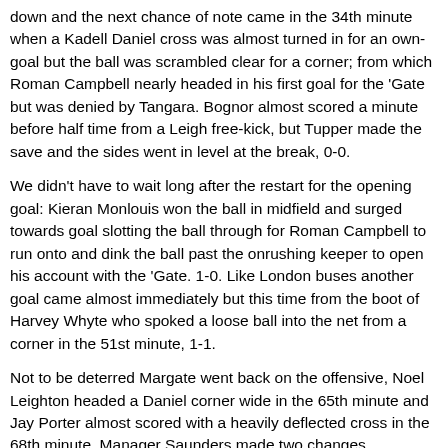down and the next chance of note came in the 34th minute when a Kadell Daniel cross was almost turned in for an own-goal but the ball was scrambled clear for a corner; from which Roman Campbell nearly headed in his first goal for the 'Gate but was denied by Tangara. Bognor almost scored a minute before half time from a Leigh free-kick, but Tupper made the save and the sides went in level at the break, 0-0.
We didn't have to wait long after the restart for the opening goal: Kieran Monlouis won the ball in midfield and surged towards goal slotting the ball through for Roman Campbell to run onto and dink the ball past the onrushing keeper to open his account with the 'Gate. 1-0. Like London buses another goal came almost immediately but this time from the boot of Harvey Whyte who spoked a loose ball into the net from a corner in the 51st minute, 1-1.
Not to be deterred Margate went back on the offensive, Noel Leighton headed a Daniel corner wide in the 65th minute and Jay Porter almost scored with a heavily deflected cross in the 68th minute. Manager Saunders made two changes introducing Reeves and Ramadan for Campbell and Daniel and it was Reeves who almost scored collecting a Liam friend diagonal pass and firing just wide of the post.